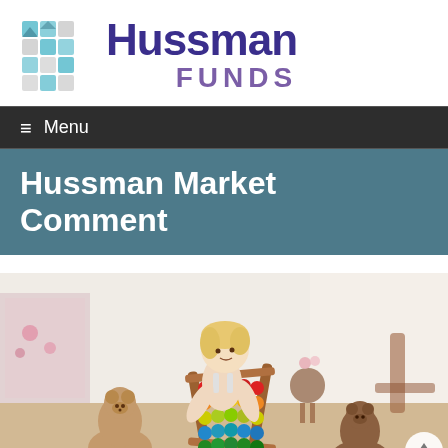[Figure (logo): Hussman Funds logo with teal/blue mosaic grid icon and purple text reading 'Hussman FUNDS']
≡ Menu
Hussman Market Comment
[Figure (photo): A young toddler with blonde hair sits on a wooden floor playing with a colorful abacus toy, surrounded by two teddy bears. The room is bright with soft natural light. A small round wooden stool with pink flowers in a vase and a chair are visible in the background.]